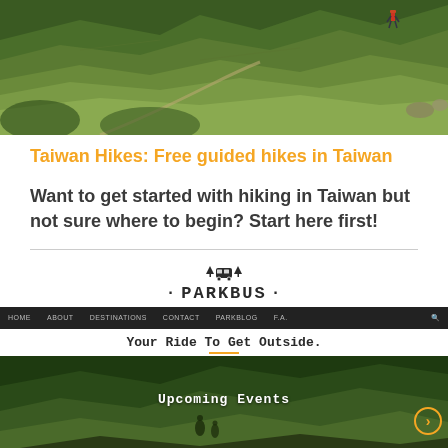[Figure (photo): Aerial/hillside view of green terraced slopes with a hiker in the upper right corner, lush vegetation]
Taiwan Hikes: Free guided hikes in Taiwan
Want to get started with hiking in Taiwan but not sure where to begin? Start here first!
[Figure (logo): Parkbus logo with bus/mountain icon and text '· PARKBUS ·']
[Figure (screenshot): Parkbus website screenshot showing navigation bar with HOME, ABOUT, DESTINATIONS, CONTACT, PARKBLOG, F.A. links, tagline 'Your Ride To Get Outside.' and bottom section with Upcoming Events and three blue event tag buttons: SEPTEMBER 27TH MANNSEYMAN, OCTOBER 11TH TATUHPAA, OCTOBER 26TH TCHOLARWAN]